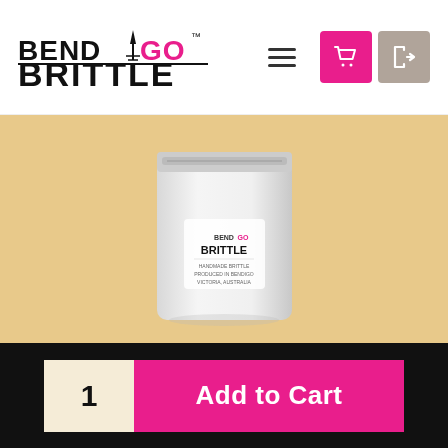[Figure (logo): Bendigo Brittle logo with tower icon, BENDI-GO in bold with pink GO, and BRITTLE in large black bold text below]
[Figure (screenshot): Hamburger menu icon (three horizontal lines)]
[Figure (screenshot): Pink shopping basket button and gray exit/login button in navigation header]
[Figure (photo): White resealable pouch bag with Bendigo Brittle logo label on a light beige/tan background]
1
Add to Cart